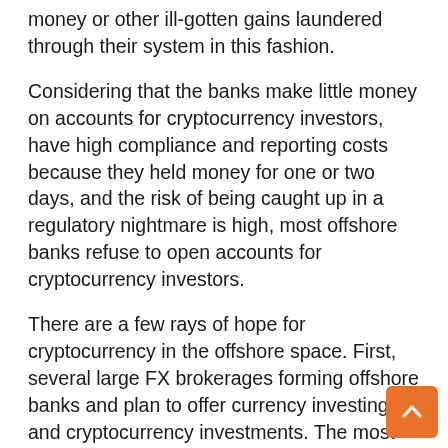money or other ill-gotten gains laundered through their system in this fashion.
Considering that the banks make little money on accounts for cryptocurrency investors, have high compliance and reporting costs because they held money for one or two days, and the risk of being caught up in a regulatory nightmare is high, most offshore banks refuse to open accounts for cryptocurrency investors.
There are a few rays of hope for cryptocurrency in the offshore space. First, several large FX brokerages forming offshore banks and plan to offer currency investing and cryptocurrency investments. The most active jurisdiction for offshore bank licenses is the US territory of Puerto Rico. See: International Financial Entities Licenses in Puerto Rico